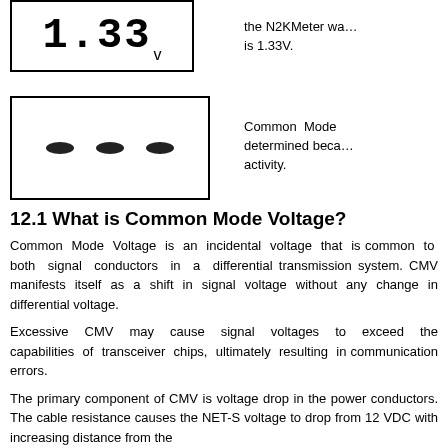[Figure (other): Digital display showing 1.33 V reading on an N2KMeter device]
the N2KMeter wa… is 1.33V.
[Figure (other): Display showing three dashes indicating Common Mode Voltage could not be determined]
Common Mode determined beca… activity.
12.1 What is Common Mode Voltage?
Common Mode Voltage is an incidental voltage that is common to both signal conductors in a differential transmission system. CMV manifests itself as a shift in signal voltage without any change in differential voltage.
Excessive CMV may cause signal voltages to exceed the capabilities of transceiver chips, ultimately resulting in communication errors.
The primary component of CMV is voltage drop in the power conductors. The cable resistance causes the NET-S voltage to drop from 12 VDC with increasing distance from the